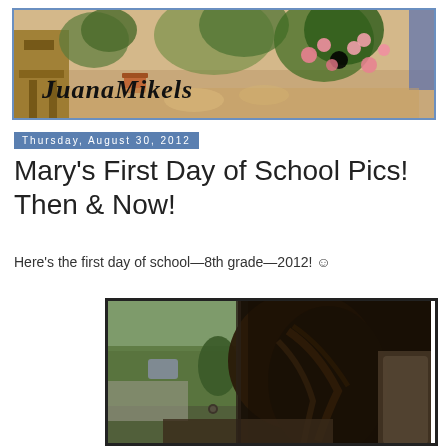[Figure (photo): Blog header banner with painted garden/outdoor scene background and 'JuanaMikels' text overlay in cursive script, framed with blue border]
Thursday, August 30, 2012
Mary's First Day of School Pics! Then & Now!
Here's the first day of school—8th grade—2012! ☺
[Figure (photo): Dark photo of a girl with long brown hair seen from behind/side, appears to be seated in a car, with greenery and street visible through window on left side]